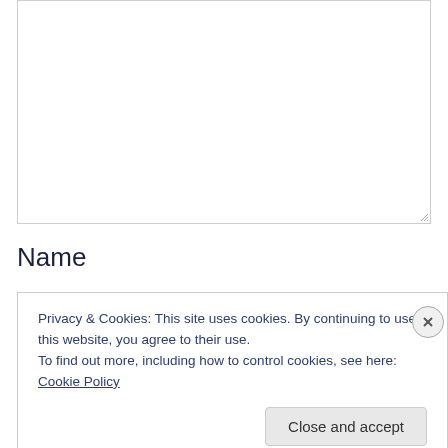[Figure (screenshot): Empty textarea input box with resize handle in bottom-right corner]
Name
Privacy & Cookies: This site uses cookies. By continuing to use this website, you agree to their use.
To find out more, including how to control cookies, see here: Cookie Policy
Close and accept